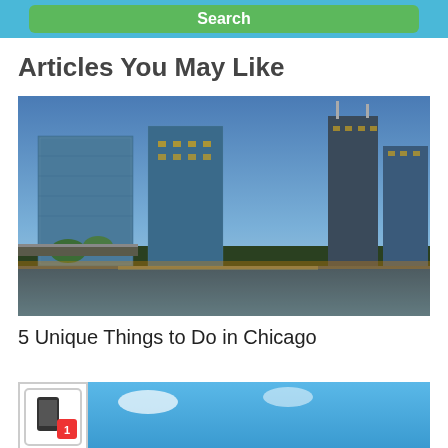[Figure (screenshot): Green Search button on a light blue banner background at top of page]
Articles You May Like
[Figure (photo): Chicago skyline at dusk with illuminated skyscrapers reflected in the river]
5 Unique Things to Do in Chicago
[Figure (photo): Partial bottom image showing a small icon with phone/number badge on left and a turquoise travel photo on the right]